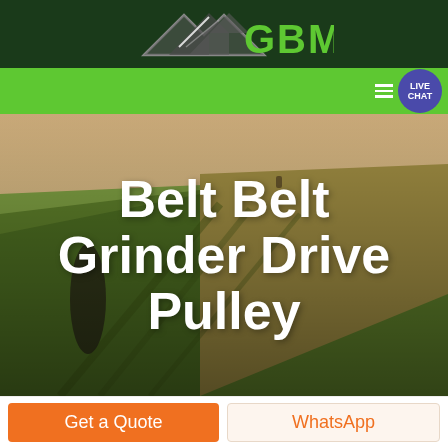GBM logo header
[Figure (logo): GBM company logo with mountain/arrow graphic in green and grey on dark green background]
[Figure (screenshot): Green navigation bar with hamburger menu and Live Chat bubble button on right]
[Figure (photo): Aerial photograph of agricultural fields with rolling green and yellow terrain, tree in foreground]
Belt Belt Grinder Drive Pulley
Get a Quote
WhatsApp